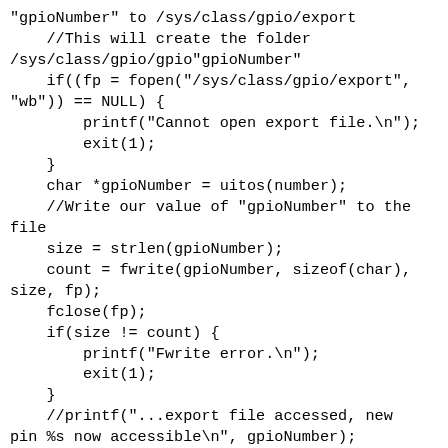"gpioNumber" to /sys/class/gpio/export
    //This will create the folder /sys/class/gpio/gpio"gpioNumber"
    if((fp = fopen("/sys/class/gpio/export", "wb")) == NULL) {
        printf("Cannot open export file.\n");
        exit(1);
    }
    char *gpioNumber = uitos(number);
    //Write our value of "gpioNumber" to the file
    size = strlen(gpioNumber);
    count = fwrite(gpioNumber, sizeof(char), size, fp);
    fclose(fp);
    if(size != count) {
        printf("Fwrite error.\n");
        exit(1);
    }
    //printf("...export file accessed, new pin %s now accessible\n", gpioNumber);
    free(gpioNumber);
}